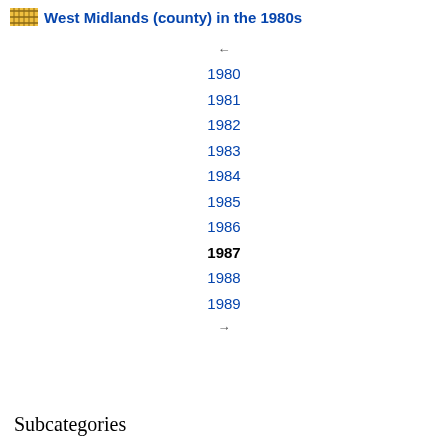West Midlands (county) in the 1980s
←
1980
1981
1982
1983
1984
1985
1986
1987
1988
1989
→
Subcategories